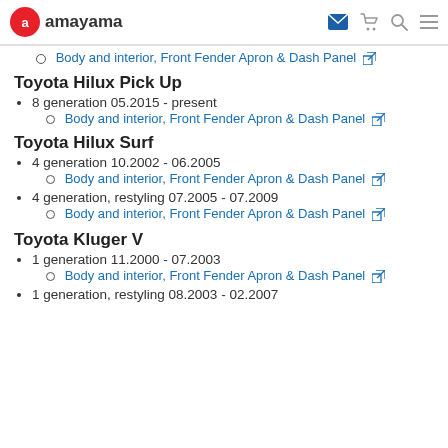amayama
Body and interior, Front Fender Apron & Dash Panel
Toyota Hilux Pick Up
8 generation 05.2015 - present
Body and interior, Front Fender Apron & Dash Panel
Toyota Hilux Surf
4 generation 10.2002 - 06.2005
Body and interior, Front Fender Apron & Dash Panel
4 generation, restyling 07.2005 - 07.2009
Body and interior, Front Fender Apron & Dash Panel
Toyota Kluger V
1 generation 11.2000 - 07.2003
Body and interior, Front Fender Apron & Dash Panel
1 generation, restyling 08.2003 - 02.2007